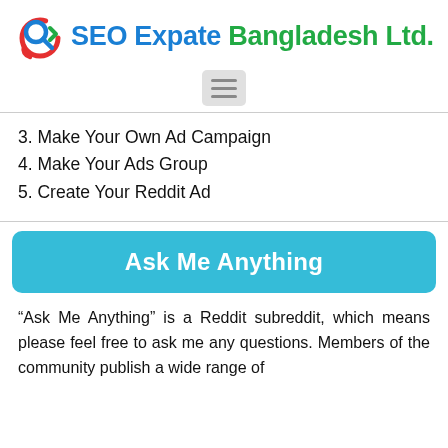SEO Expate Bangladesh Ltd.
3. Make Your Own Ad Campaign
4. Make Your Ads Group
5. Create Your Reddit Ad
Ask Me Anything
“Ask Me Anything” is a Reddit subreddit, which means please feel free to ask me any questions. Members of the community publish a wide range of